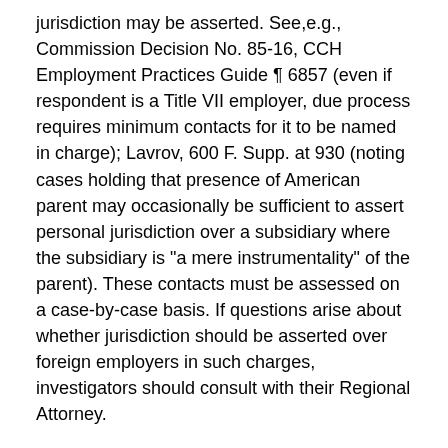jurisdiction may be asserted. See,e.g., Commission Decision No. 85-16, CCH Employment Practices Guide ¶ 6857 (even if respondent is a Title VII employer, due process requires minimum contacts for it to be named in charge); Lavrov, 600 F. Supp. at 930 (noting cases holding that presence of American parent may occasionally be sufficient to assert personal jurisdiction over a subsidiary where the subsidiary is "a mere instrumentality" of the parent). These contacts must be assessed on a case-by-case basis. If questions arise about whether jurisdiction should be asserted over foreign employers in such charges, investigators should consult with their Regional Attorney.
9. Although the term "employer" is generally used for ease of reference, Section 109 provides a foreign laws defense for all entities covered under Title VII and the ADA, including employment agencies, labor